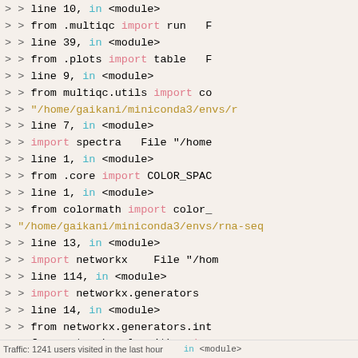Code traceback showing Python import errors with file paths and line numbers in a terminal/web interface
Traffic: 1241 users visited in the last hour    in <module>